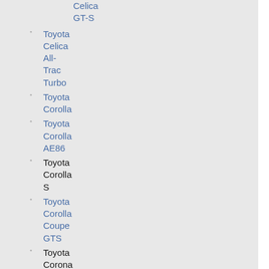Celica GT-S
Toyota Celica All-Trac Turbo
Toyota Corolla
Toyota Corolla AE86
Toyota Corolla S
Toyota Corolla Coupe GTS
Toyota Corona
Toyota Craig Lieberman Supra Turbo
Toyota Cressida
Toyota Echo
Toyota GT-